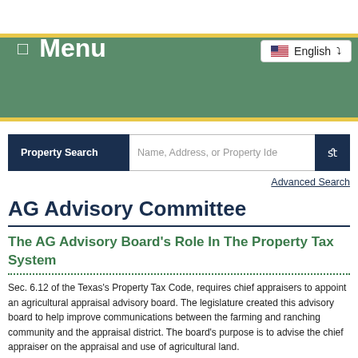Menu
English
Property Search  Name, Address, or Property Ide
Advanced Search
AG Advisory Committee
The AG Advisory Board's Role In The Property Tax System
Sec. 6.12 of the Texas's Property Tax Code, requires chief appraisers to appoint an agricultural appraisal advisory board. The legislature created this advisory board to help improve communications between the farming and ranching community and the appraisal district. The board's purpose is to advise the chief appraiser on the appraisal and use of agricultural land.